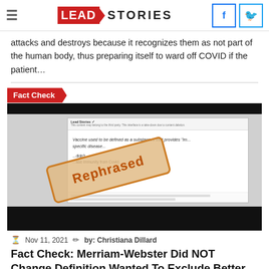Lead Stories
attacks and destroys because it recognizes them as not part of the human body, thus preparing itself to ward off COVID if the patient…
[Figure (screenshot): Fact Check image showing a screenshot of a Facebook post about the Merriam-Webster definition of vaccine, with a 'Rephrased' stamp overlaid diagonally on the image. The screenshot contains text 'Vaccine used to be defined as a substances that provides [immunity from] specific disease' and 'immunity from Covid.']
Nov 11, 2021   by: Christiana Dillard
Fact Check: Merriam-Webster Did NOT Change Definition Wanted To Exclude Better About